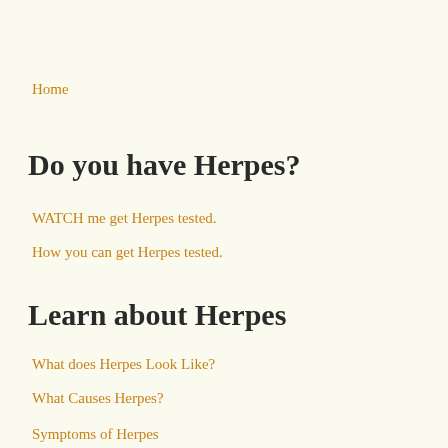Home
Do you have Herpes?
WATCH me get Herpes tested.
How you can get Herpes tested.
Learn about Herpes
What does Herpes Look Like?
What Causes Herpes?
Symptoms of Herpes